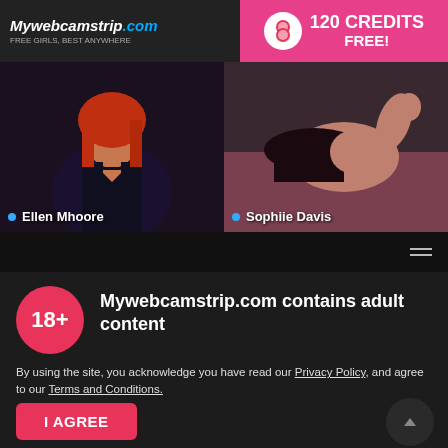Mywebcamstrip.com — FREE CREDITS ADVERTISEMENT: 120 CREDITS FREE!
[Figure (photo): Two webcam thumbnail images side by side. Left: woman with red/orange hair in dark outfit labeled 'Ellen Mhoore'. Right: woman with dark hair lying down labeled 'Sophiie Davis'.]
Mywebcamstrip.com contains adult content
By using the site, you acknowledge you have read our Privacy Policy, and agree to our Terms and Conditions.
We use cookies to optimize your experience, analyze traffic, and deliver more personalized service. To learn more, please see our Privacy Policy.
I AGREE